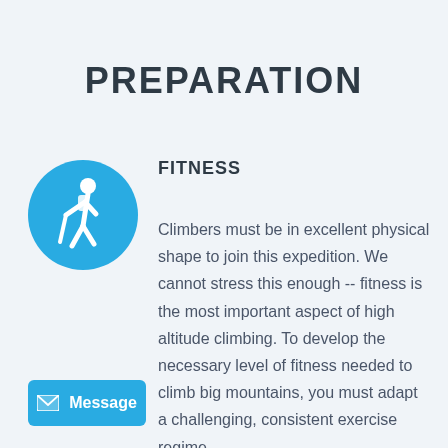PREPARATION
[Figure (illustration): Blue circle icon with white hiking/climbing figure holding a walking stick]
FITNESS
Climbers must be in excellent physical shape to join this expedition. We cannot stress this enough -- fitness is the most important aspect of high altitude climbing. To develop the necessary level of fitness needed to climb big mountains, you must adapt a challenging, consistent exercise regime
[Figure (other): Blue button with envelope icon and text 'Message']